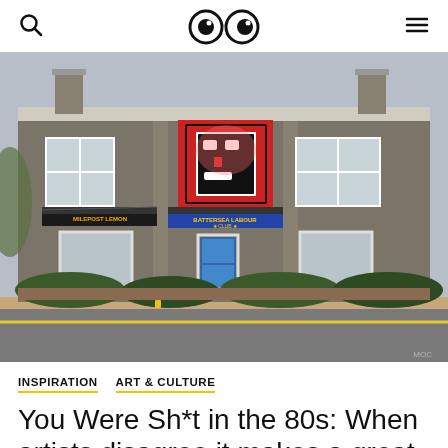Search | Logo | Menu
[Figure (photo): Photograph of a brick building (Battersea Labour Club) with a large red Obey Giant street art face mural on the upper facade, viewed from across the street. The building has multiple sash windows, green shrubs in front, and a blue door. Street in foreground.]
INSPIRATION   ART & CULTURE
You Were Sh*t in the 80s: When artists disagree it makes a great story